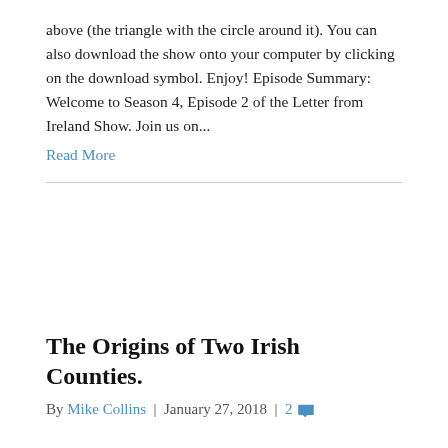above (the triangle with the circle around it). You can also download the show onto your computer by clicking on the download symbol. Enjoy! Episode Summary: Welcome to Season 4, Episode 2 of the Letter from Ireland Show. Join us on...
Read More
The Origins of Two Irish Counties.
By Mike Collins | January 27, 2018 | 2